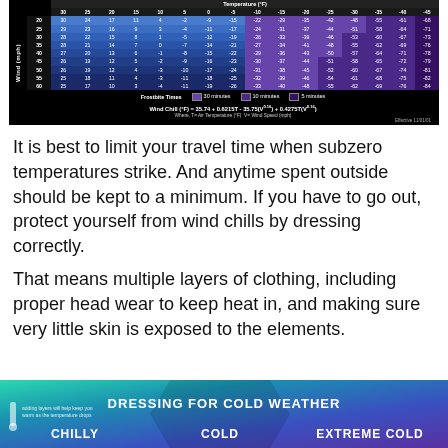[Figure (table-as-image): NWS Wind Chill chart showing wind chill temperatures (°F) for various air temperatures and wind speeds, with frostbite time color zones and the wind chill formula: Wind Chill (°F) = 35.74 + 0.6215T - 35.75(V^0.16) + 0.4275T(V^0.16)]
It is best to limit your travel time when subzero temperatures strike. And anytime spent outside should be kept to a minimum. If you have to go out, protect yourself from wind chills by dressing correctly.
That means multiple layers of clothing, including proper head wear to keep heat in, and making sure very little skin is exposed to the elements.
[Figure (infographic): Dressing for Cold Weather infographic showing clothing recommendations for Chilly, Cold, and Extreme Cold categories with a thermometer icon and note: adding layers will help keep you warm as the temperature drops.]